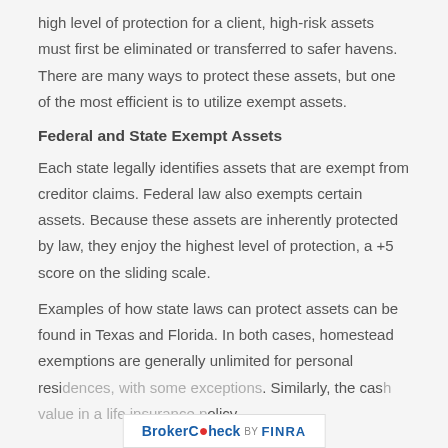high level of protection for a client, high-risk assets must first be eliminated or transferred to safer havens. There are many ways to protect these assets, but one of the most efficient is to utilize exempt assets.
Federal and State Exempt Assets
Each state legally identifies assets that are exempt from creditor claims. Federal law also exempts certain assets. Because these assets are inherently protected by law, they enjoy the highest level of protection, a +5 score on the sliding scale.
Examples of how state laws can protect assets can be found in Texas and Florida. In both cases, homestead exemptions are generally unlimited for personal residences, with some exceptions. Similarly, the cash value in a life insurance policy